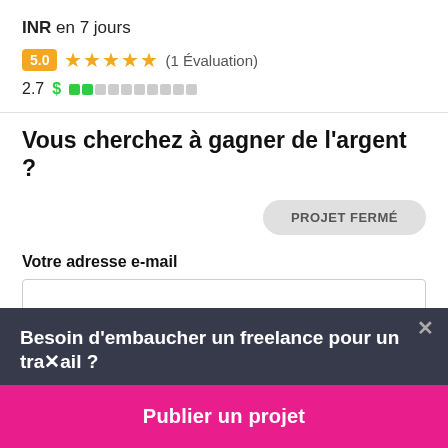INR en 7 jours
5.0 ★★★★★ (1 Évaluation)
2.7 $ ██░░░░░░░░
Vous cherchez à gagner de l'argent ?
PROJET FERMÉ
Votre adresse e-mail
Besoin d'embaucher un freelance pour un travail ?
Publier un projet